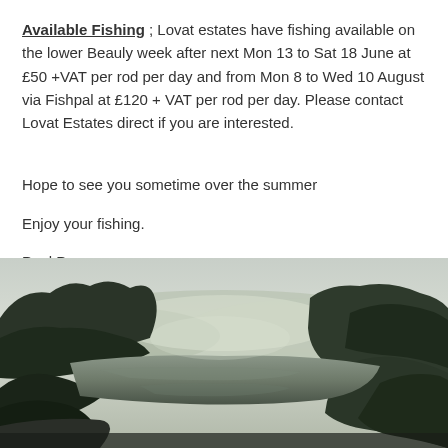Available Fishing ; Lovat estates have fishing available on the lower Beauly week after next Mon 13 to Sat 18 June at £50 +VAT per rod per day and from Mon 8 to Wed 10 August via Fishpal at £120 + VAT per rod per day. Please contact Lovat Estates direct if you are interested.
Hope to see you sometime over the summer
Enjoy your fishing.
Paul Pacey
[Figure (photo): A wide landscape photograph of a calm river with tree-lined banks and misty hills in the background, taken in early morning light.]